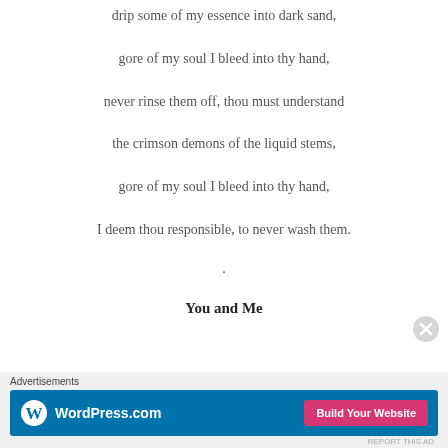drip some of my essence into dark sand,
gore of my soul I bleed into thy hand,
never rinse them off, thou must understand
the crimson demons of the liquid stems,
gore of my soul I bleed into thy hand,
I deem thou responsible, to never wash them.
.
You and Me
Advertisements
[Figure (other): WordPress.com advertisement banner with logo and 'Build Your Website' button]